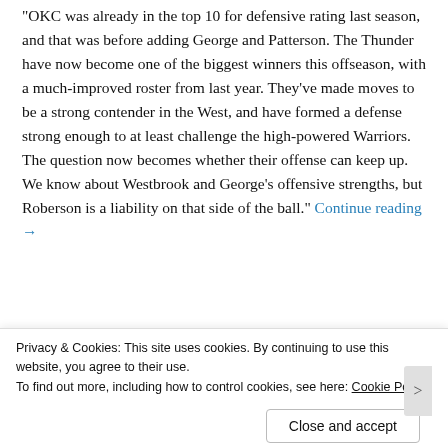“OKC was already in the top 10 for defensive rating last season, and that was before adding George and Patterson. The Thunder have now become one of the biggest winners this offseason, with a much-improved roster from last year. They’ve made moves to be a strong contender in the West, and have formed a defense strong enough to at least challenge the high-powered Warriors. The question now becomes whether their offense can keep up. We know about Westbrook and George’s offensive strengths, but Roberson is a liability on that side of the ball.” Continue reading →
Share this:
Privacy & Cookies: This site uses cookies. By continuing to use this website, you agree to their use. To find out more, including how to control cookies, see here: Cookie Policy
Close and accept